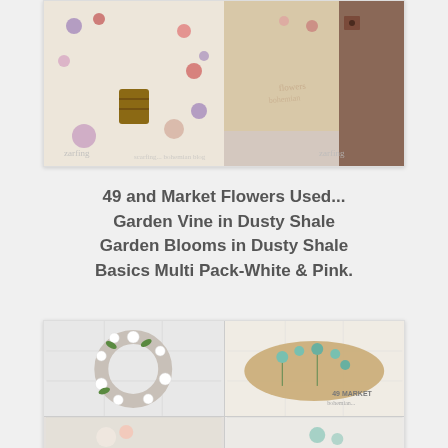[Figure (photo): Two scrapbook/craft paper product sheets side by side. Left sheet shows various illustrated elements including a wooden barrel, flowers, butterflies on a cream background. Right sheet shows craft papers with floral decoration on wood-grain and beige backgrounds.]
49 and Market Flowers Used... Garden Vine in Dusty Shale Garden Blooms in Dusty Shale Basics Multi Pack-White & Pink.
[Figure (photo): Four photos of flower crafts made with 49 and Market flowers. Top left: white paper flower wreath on white tile background. Top right: teal/mint flowers arranged on a driftwood piece on white tiles, with 49 Market branding. Bottom row: partial views of two more flower craft arrangements.]